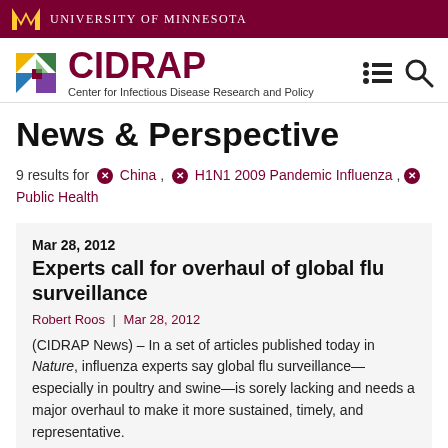[Figure (logo): University of Minnesota logo bar with gold M logo and text 'UNIVERSITY OF MINNESOTA' on dark red background]
[Figure (logo): CIDRAP logo with colorful quadrant icon and text 'CIDRAP Center for Infectious Disease Research and Policy']
News & Perspective
9 results for  China ,  H1N1 2009 Pandemic Influenza ,  Public Health
Mar 28, 2012
Experts call for overhaul of global flu surveillance
Robert Roos  | Mar 28, 2012
(CIDRAP News) – In a set of articles published today in Nature, influenza experts say global flu surveillance—especially in poultry and swine—is sorely lacking and needs a major overhaul to make it more sustained, timely, and representative.